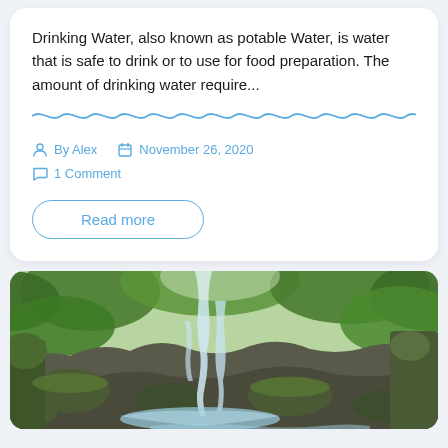Drinking Water, also known as potable Water, is water that is safe to drink or to use for food preparation. The amount of drinking water require...
By Alex   November 26, 2020   1 Comment
Read more
[Figure (photo): A lush green forest scene with a cascading waterfall flowing over mossy rocks, with vibrant green foliage surrounding the stream.]